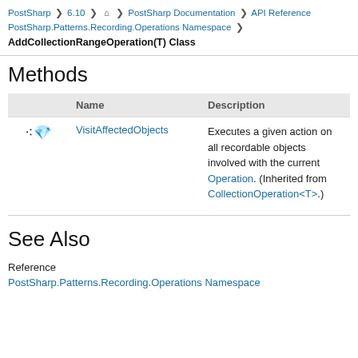PostSharp > 6.10 > > PostSharp Documentation > API Reference > PostSharp.Patterns.Recording.Operations Namespace > AddCollectionRangeOperation(T) Class
Methods
|  | Name | Description |
| --- | --- | --- |
| [icon] | VisitAffectedObjects | Executes a given action on all recordable objects involved with the current Operation. (Inherited from CollectionOperation<T>.) |
See Also
Reference
PostSharp.Patterns.Recording.Operations Namespace